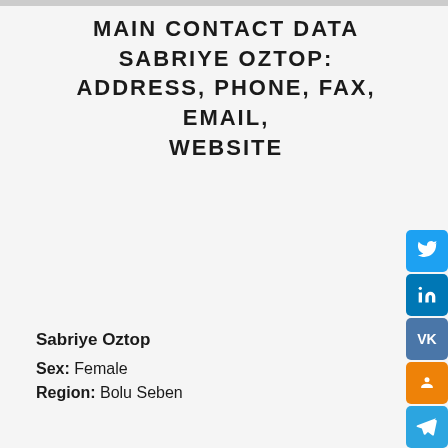MAIN CONTACT DATA SABRIYE OZTOP: ADDRESS, PHONE, FAX, EMAIL, WEBSITE
[Figure (infographic): Social media share buttons: Twitter, LinkedIn, VK, OK, Telegram, Tumblr]
Sabriye Oztop
Sex: Female
Region: Bolu Seben